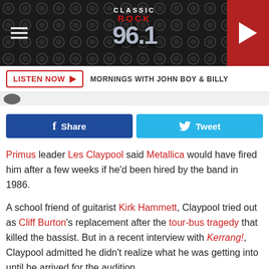[Figure (logo): Classic Rock 96.1 radio station logo on dark textured header with hamburger menu and play button]
LISTEN NOW ▶  MORNINGS WITH JOHN BOY & BILLY
[Figure (other): Facebook Share and Twitter Tweet social sharing buttons]
Primus leader Les Claypool said Metallica would have fired him after a few weeks if he'd been hired by the band in 1986.
A school friend of guitarist Kirk Hammett, Claypool tried out as Cliff Burton's replacement after the tour-bus tragedy that killed the bassist. But in a recent interview with Kerrang!, Claypool admitted he didn't realize what he was getting into until he arrived for the audition.